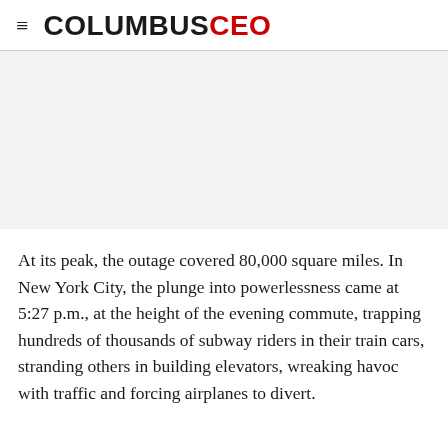COLUMBUS CEO
[Figure (other): Gray advertisement placeholder area]
At its peak, the outage covered 80,000 square miles. In New York City, the plunge into powerlessness came at 5:27 p.m., at the height of the evening commute, trapping hundreds of thousands of subway riders in their train cars, stranding others in building elevators, wreaking havoc with traffic and forcing airplanes to divert.